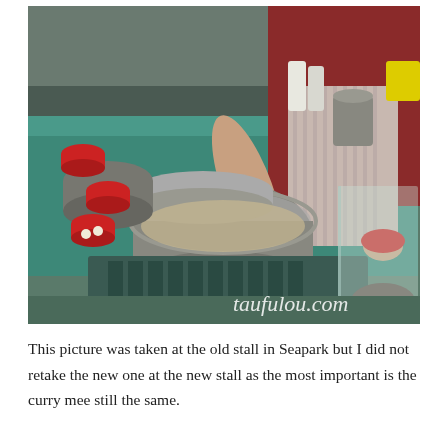[Figure (photo): A cook at a food stall stirring a large pot of noodles with their hand, with multiple red bowls and aluminum pots/pans on a teal-colored counter. The watermark 'taufulou.com' appears in the lower right of the image.]
This picture was taken at the old stall in Seapark but I did not retake the new one at the new stall as the most important is the curry mee still the same.